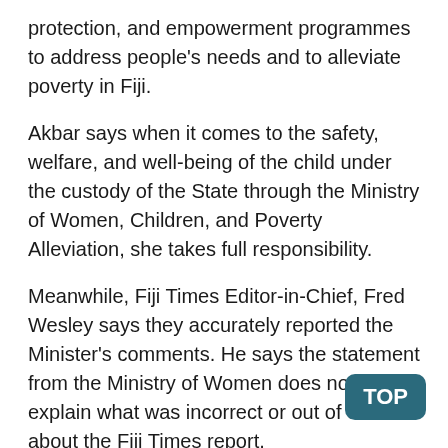protection, and empowerment programmes to address people's needs and to alleviate poverty in Fiji.
Akbar says when it comes to the safety, welfare, and well-being of the child under the custody of the State through the Ministry of Women, Children, and Poverty Alleviation, she takes full responsibility.
Meanwhile, Fiji Times Editor-in-Chief, Fred Wesley says they accurately reported the Minister's comments. He says the statement from the Ministry of Women does not explain what was incorrect or out of context about the Fiji Times report.
Wesley says it is not unusual for Government Ministries to claim that Fiji Times is spreading misinformation.
He adds they are used to these claims however Times does not do this.